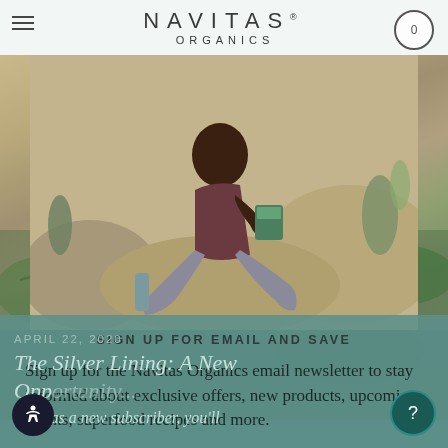[Figure (photo): Navitas Organics website screenshot showing a woman sitting on rocks outdoors reading a product package, with desert landscape behind her. Navigation bar at top with hamburger menu, Navitas logo, and cart icon.]
SIGN UP FOR EMAIL AND SAVE
Sign up for the Navitas Organics email newsletter to stay informed about exclusive offers, new products, upcoming events, superfood recipes and more.
Plus, as a new subscriber, you'll
APRIL 22, 2020
The Silver Lining: A New Opp...